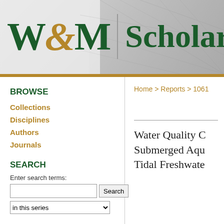[Figure (logo): W&M ScholarWorks logo with green serif text and gold ampersand on a gray background with architectural image]
BROWSE
Collections
Disciplines
Authors
Journals
SEARCH
Enter search terms:
in this series
Home > Reports > 1061
Water Quality C Submerged Aqu Tidal Freshwate